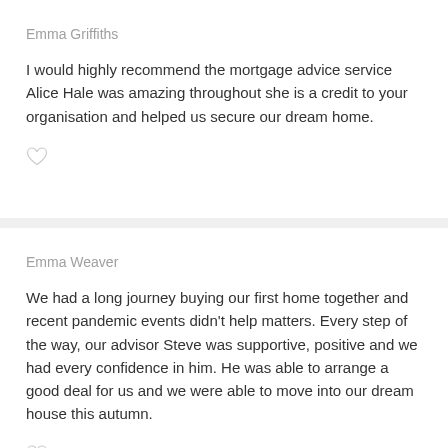Emma Griffiths
I would highly recommend the mortgage advice service Alice Hale was amazing throughout she is a credit to your organisation and helped us secure our dream home.
Emma Weaver
We had a long journey buying our first home together and recent pandemic events didn't help matters. Every step of the way, our advisor Steve was supportive, positive and we had every confidence in him. He was able to arrange a good deal for us and we were able to move into our dream house this autumn.